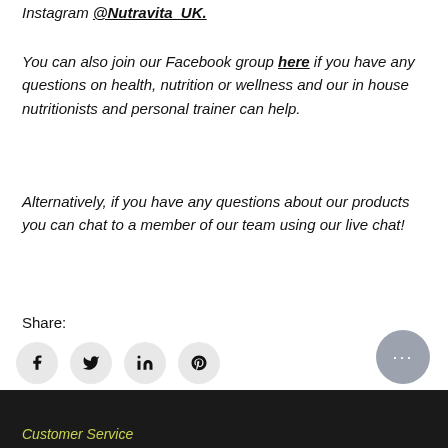Instagram @Nutravita_UK.
You can also join our Facebook group here if you have any questions on health, nutrition or wellness and our in house nutritionists and personal trainer can help.
Alternatively, if you have any questions about our products you can chat to a member of our team using our live chat!
Share:
[Figure (infographic): Four social media share icons in circular grey buttons: Facebook (f), Twitter (bird), LinkedIn (in), Pinterest (p)]
< Previous article
[Figure (other): Grey circular chat bubble button with three dots in the bottom right corner]
Customer Service